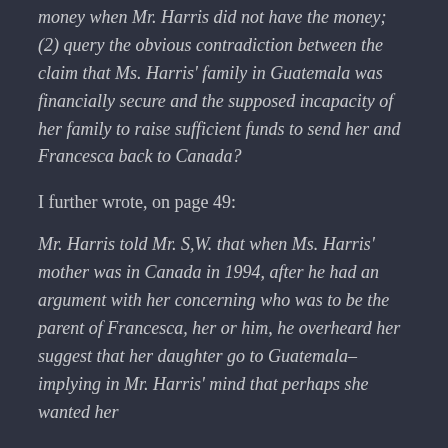money when Mr. Harris did not have the money; (2) query the obvious contradiction between the claim that Ms. Harris' family in Guatemala was financially secure and the supposed incapacity of her family to raise sufficient funds to send her and Francesca back to Canada?
I further wrote, on page 49:
Mr. Harris told Mr. S,W. that when Ms. Harris' mother was in Canada in 1994, after he had an argument with her concerning who was to be the parent of Francesca, her or him, he overheard her suggest that her daughter go to Guatemala–implying in Mr. Harris' mind that perhaps she wanted her